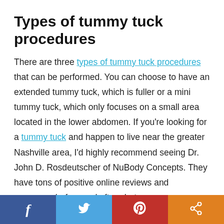Types of tummy tuck procedures
There are three types of tummy tuck procedures that can be performed. You can choose to have an extended tummy tuck, which is fuller or a mini tummy tuck, which only focuses on a small area located in the lower abdomen. If you’re looking for a tummy tuck and happen to live near the greater Nashville area, I’d highly recommend seeing Dr. John D. Rosdeutscher of NuBody Concepts. They have tons of positive online reviews and numerous before and after photos.